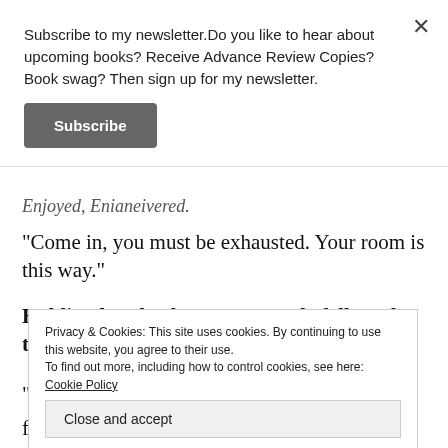Subscribe to my newsletter.Do you like to hear about upcoming books? Receive Advance Review Copies? Book swag? Then sign up for my newsletter.
Subscribe
Enjoyed, Enianeivered.
"Come in, you must be exhausted. Your room is this way."
Holding hands, the young couple followed the proprietor to their room.
Privacy & Cookies: This site uses cookies. By continuing to use this website, you agree to their use.
To find out more, including how to control cookies, see here: Cookie Policy
Close and accept